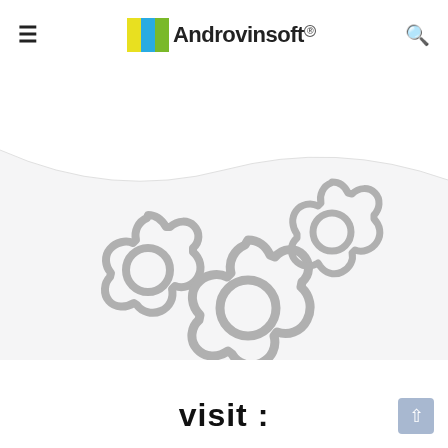≡  Androvinsoft  🔍
[Figure (illustration): Three grey gear/cog icons of varying sizes arranged in a triangular pattern on a light grey wavy background]
visit :